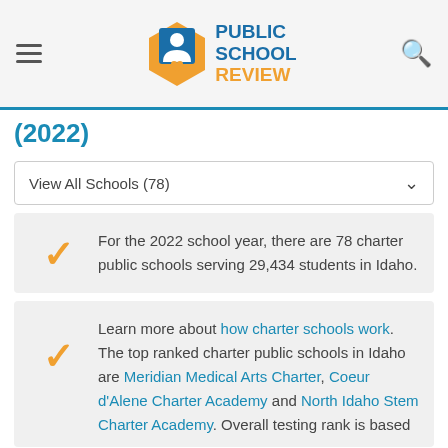Public School Review — EST. 2003
(2022)
View All Schools (78)
For the 2022 school year, there are 78 charter public schools serving 29,434 students in Idaho.
Learn more about how charter schools work. The top ranked charter public schools in Idaho are Meridian Medical Arts Charter, Coeur d'Alene Charter Academy and North Idaho Stem Charter Academy. Overall testing rank is based